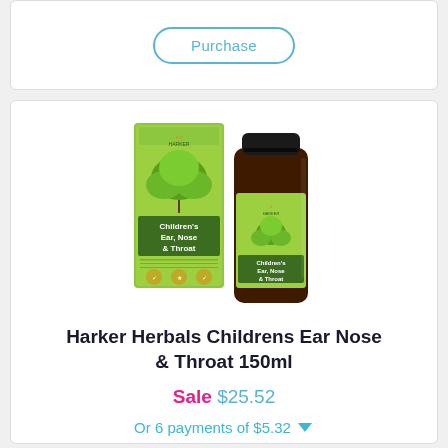Purchase
[Figure (photo): Harker Herbals Children's Ear Nose & Throat 150ml product - green box packaging and dark amber glass bottle with green label]
Harker Herbals Childrens Ear Nose & Throat 150ml
Sale $25.52
Or 6 payments of $5.32